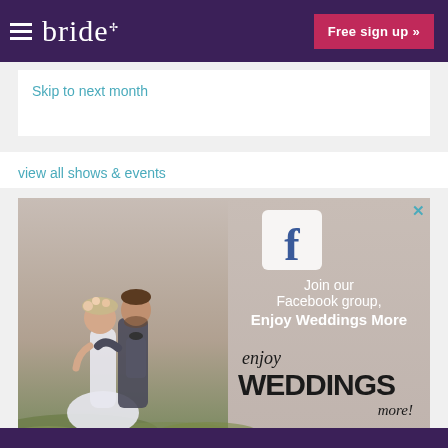bride — Free sign up »
Skip to next month
view all shows & events
[Figure (photo): Advertisement banner for a Facebook group 'Enjoy Weddings More' showing a couple embracing in a field with floral overlay, Facebook icon, and text: Join our Facebook group, Enjoy Weddings More, enjoy WEDDINGS more!]